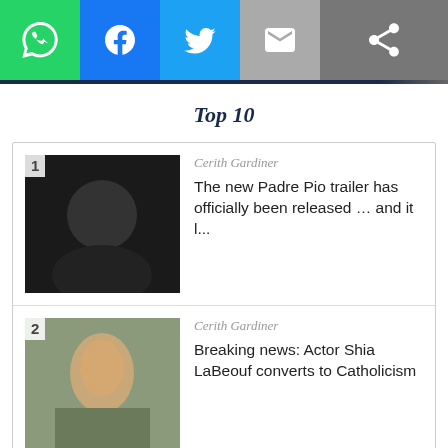[Figure (other): Social media share bar with WhatsApp, Facebook, Twitter, Email, and generic share buttons]
Top 10
1. Cerith Gardiner — The new Padre Pio trailer has officially been released … and it l...
2. Cerith Gardiner — Breaking news: Actor Shia LaBeouf converts to Catholicism
3. Fr. Michael Rennier — When I couldn't focus anymore, this is how I fixed it
4. Philip Kosloski — (partial)